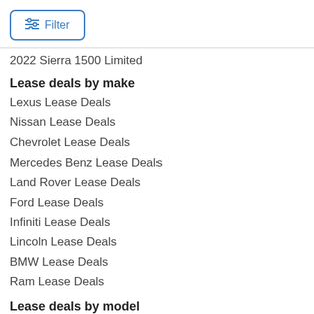[Figure (other): Filter button with sliders icon and blue border]
2022 Sierra 1500 Limited
Lease deals by make
Lexus Lease Deals
Nissan Lease Deals
Chevrolet Lease Deals
Mercedes Benz Lease Deals
Land Rover Lease Deals
Ford Lease Deals
Infiniti Lease Deals
Lincoln Lease Deals
BMW Lease Deals
Ram Lease Deals
Lease deals by model
Mazda CX-5 Lease Deals
Audi Q8 Lease Deals